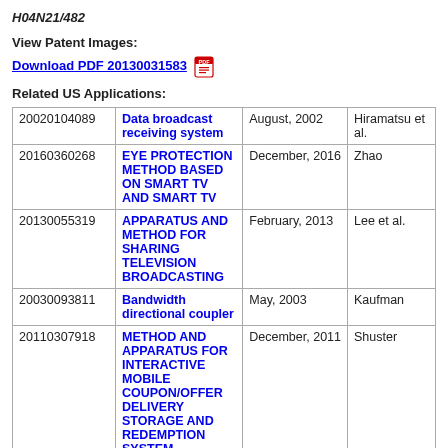H04N21/482
View Patent Images:
Download PDF 20130031583
Related US Applications:
|  |  |  |  |
| --- | --- | --- | --- |
| 20020104089 | Data broadcast receiving system | August, 2002 | Hiramatsu et al. |
| 20160360268 | EYE PROTECTION METHOD BASED ON SMART TV AND SMART TV | December, 2016 | Zhao |
| 20130055319 | APPARATUS AND METHOD FOR SHARING TELEVISION BROADCASTING | February, 2013 | Lee et al. |
| 20030093811 | Bandwidth directional coupler | May, 2003 | Kaufman |
| 20110307918 | METHOD AND APPARATUS FOR INTERACTIVE MOBILE COUPON/OFFER DELIVERY STORAGE AND REDEMPTION SYSTEM | December, 2011 | Shuster |